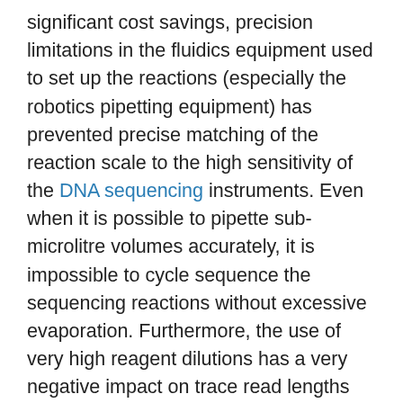significant cost savings, precision limitations in the fluidics equipment used to set up the reactions (especially the robotics pipetting equipment) has prevented precise matching of the reaction scale to the high sensitivity of the DNA sequencing instruments. Even when it is possible to pipette sub-microlitre volumes accurately, it is impossible to cycle sequence the sequencing reactions without excessive evaporation. Furthermore, the use of very high reagent dilutions has a very negative impact on trace read lengths and reaction success rate. This is due to the enzymatic DNA sequencing reaction becoming substrate limited – basically the polymerase is starved of nucleotides and is unable to complete the sequencing extension. Because of all the above problems...